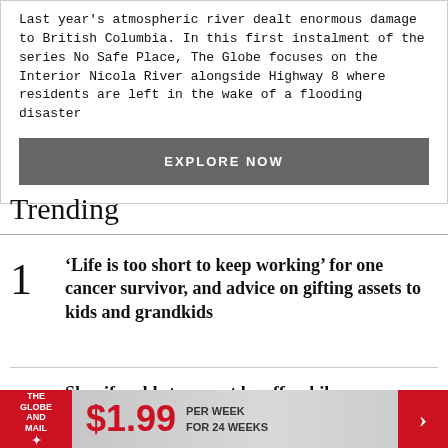Last year's atmospheric river dealt enormous damage to British Columbia. In this first instalment of the series No Safe Place, The Globe focuses on the Interior Nicola River alongside Highway 8 where residents are left in the wake of a flooding disaster
EXPLORE NOW
Trending
1  'Life is too short to keep working' for one cancer survivor, and advice on gifting assets to kids and grandkids
2  Shopify adds to recent layoffs while
$1.99 PER WEEK FOR 24 WEEKS